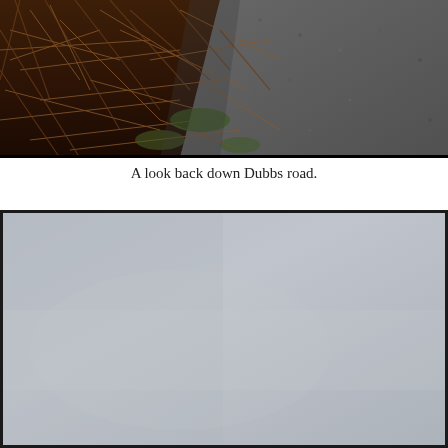[Figure (photo): A photo looking down Dubbs road, showing dry brown grasses and vegetation on the left side and a gravel/rocky road surface on the right, taken from above looking down the road.]
A look back down Dubbs road.
[Figure (photo): A photo showing a light gray, overcast or misty scene — appears to be a sky or foggy landscape with very little detail, bordered by a thin black frame.]